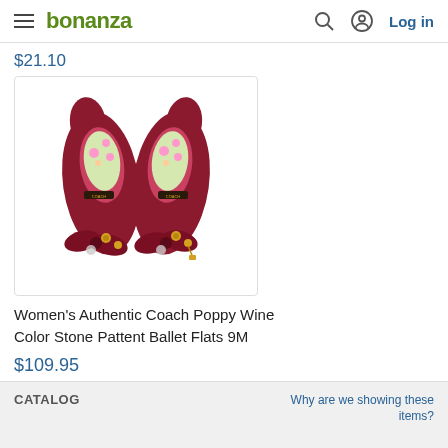bonanza — Log in
$21.10
[Figure (photo): Two wine-colored Coach Poppy patent leather ballet flats with bow and gold charm embellishments, viewed from above.]
Women's Authentic Coach Poppy Wine Color Stone Pattent Ballet Flats 9M
$109.95
CATALOG   Why are we showing these items?